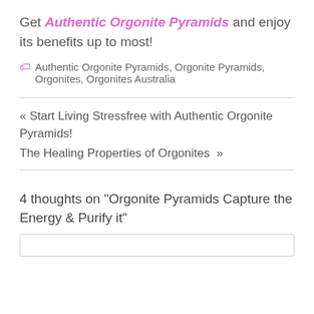Get Authentic Orgonite Pyramids and enjoy its benefits up to most!
Authentic Orgonite Pyramids, Orgonite Pyramids, Orgonites, Orgonites Australia
« Start Living Stressfree with Authentic Orgonite Pyramids!
The Healing Properties of Orgonites »
4 thoughts on “Orgonite Pyramids Capture the Energy & Purify it”